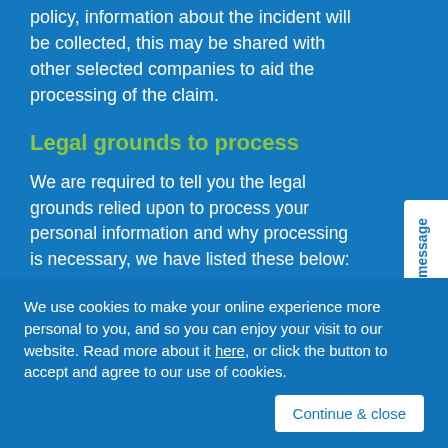policy, information about the incident will be collected, this may be shared with other selected companies to aid the processing of the claim.
Legal grounds to process
We are required to tell you the legal grounds relied upon to process your personal information and why processing is necessary, we have listed these below:
Our performance of an insurance
Leave a message
We use cookies to make your online experience more personal to you, and so you can enjoy your visit to our website. Read more about it here, or click the button to accept and agree to our use of cookies.
Continue & close